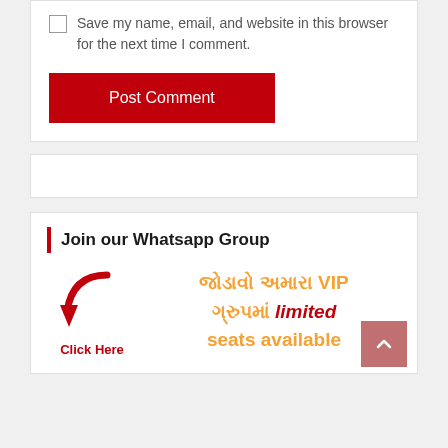Save my name, email, and website in this browser for the next time I comment.
[Figure (screenshot): Post Comment button - dark red/crimson background with white text]
[Figure (infographic): WhatsApp group join banner with Gujarati text 'જોડાવો અમારા VIP ગ્રુપમાં limited seats available' and a click here arrow graphic]
Join our Whatsapp Group